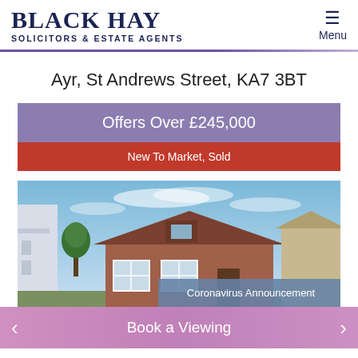BLACK HAY SOLICITORS & ESTATE AGENTS
Ayr, St Andrews Street, KA7 3BT
Offers Over £245,000
New To Market, Sold
[Figure (photo): Exterior photo of a red-brick bungalow with brown/terracotta roof tiles and white window frames, blue sky with light clouds in background]
Coronavirus Announcement
Book a Viewing